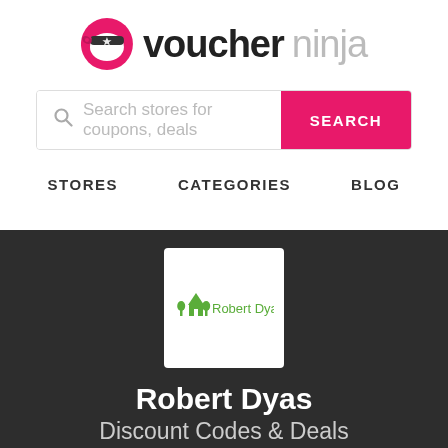[Figure (logo): Voucher Ninja logo with pink ninja icon, bold 'voucher' text and light gray 'ninja' text]
[Figure (screenshot): Search bar with magnifying glass icon, placeholder text 'Search stores for coupons, deals', and a pink SEARCH button]
STORES   CATEGORIES   BLOG
[Figure (logo): Robert Dyas store logo card on dark background showing green house icon and 'Robert Dyas' text in green]
Robert Dyas
Discount Codes & Deals